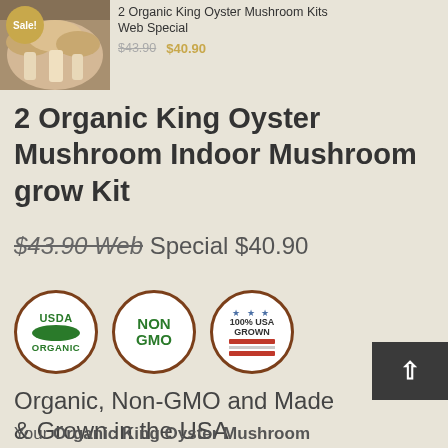[Figure (photo): Thumbnail photo of King Oyster Mushrooms with a Sale badge overlay]
2 Organic King Oyster Mushroom Kits Web Special
$43.90  $40.90
2 Organic King Oyster Mushroom Indoor Mushroom grow Kit
$43.90 Web Special $40.90
[Figure (logo): Three certification badges: USDA Organic, Non GMO, 100% USA Grown]
Organic, Non-GMO and Made & Grown in the USA
Your Organic King Oyster Mushroom